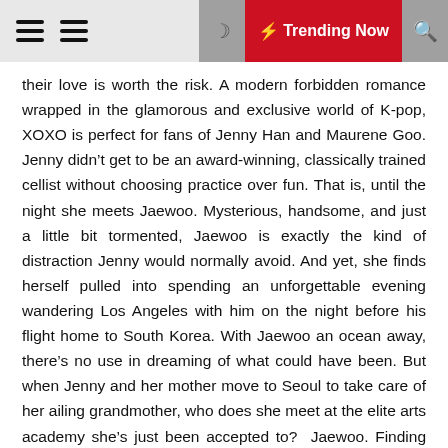≡ ≡  ☽  ⚡ Trending Now  🔍
their love is worth the risk. A modern forbidden romance wrapped in the glamorous and exclusive world of K-pop, XOXO is perfect for fans of Jenny Han and Maurene Goo. Jenny didn't get to be an award-winning, classically trained cellist without choosing practice over fun. That is, until the night she meets Jaewoo. Mysterious, handsome, and just a little bit tormented, Jaewoo is exactly the kind of distraction Jenny would normally avoid. And yet, she finds herself pulled into spending an unforgettable evening wandering Los Angeles with him on the night before his flight home to South Korea. With Jaewoo an ocean away, there's no use in dreaming of what could have been. But when Jenny and her mother move to Seoul to take care of her ailing grandmother, who does she meet at the elite arts academy she's just been accepted to? Jaewoo. Finding the dreamy stranger who swept you off your feet in your homeroom is one thing, but Jaewoo isn't just any student. Turns out, Jaewoo is a member of one of the biggest K-pop bands in the world. And like most K-pop idols, Jaewoo is strictly forbidden from dating anyone. When a relationship means not only jeopardizing her place at her dream music school but also endangering everything they've worked for to get to this point, can they find it t